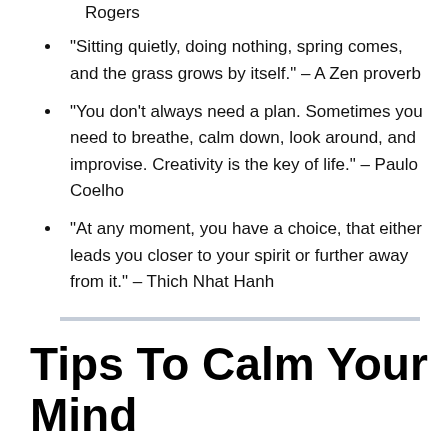Rogers
“Sitting quietly, doing nothing, spring comes, and the grass grows by itself.” – A Zen proverb
“You don’t always need a plan. Sometimes you need to breathe, calm down, look around, and improvise. Creativity is the key of life.” – Paulo Coelho
“At any moment, you have a choice, that either leads you closer to your spirit or further away from it.” – Thich Nhat Hanh
Tips To Calm Your Mind
I’m often asked how to “stay calm and carry on” during turbulent times.
It’s hard to argue that we are indeed living in